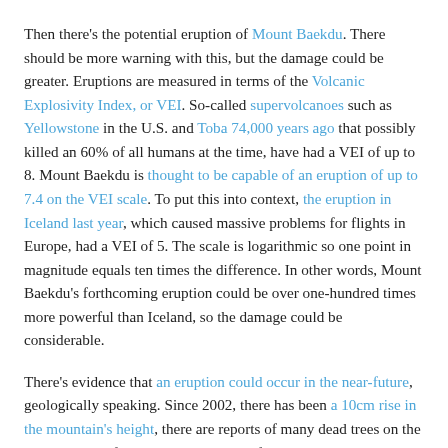Then there's the potential eruption of Mount Baekdu. There should be more warning with this, but the damage could be greater. Eruptions are measured in terms of the Volcanic Explosivity Index, or VEI. So-called supervolcanoes such as Yellowstone in the U.S. and Toba 74,000 years ago that possibly killed an 60% of all humans at the time, have had a VEI of up to 8. Mount Baekdu is thought to be capable of an eruption of up to 7.4 on the VEI scale. To put this into context, the eruption in Iceland last year, which caused massive problems for flights in Europe, had a VEI of 5. The scale is logarithmic so one point in magnitude equals ten times the difference. In other words, Mount Baekdu's forthcoming eruption could be over one-hundred times more powerful than Iceland, so the damage could be considerable.
There's evidence that an eruption could occur in the near-future, geologically speaking. Since 2002, there has been a 10cm rise in the mountain's height, there are reports of many dead trees on the Chinese side of the mountain, and the frequency or earthquakes has increased noteably. Satellites have detected a temperature rise in the mountain.